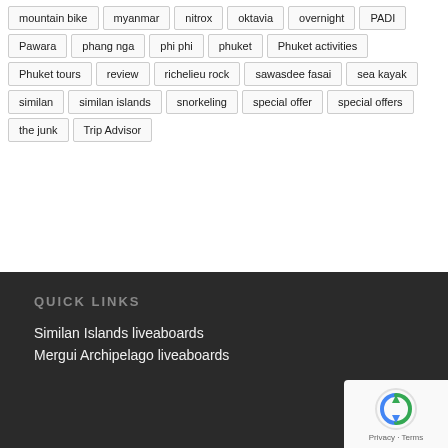mountain bike
myanmar
nitrox
oktavia
overnight
PADI
Pawara
phang nga
phi phi
phuket
Phuket activities
Phuket tours
review
richelieu rock
sawasdee fasai
sea kayak
similan
similan islands
snorkeling
special offer
special offers
the junk
Trip Advisor
QUICK LINKS
Similan Islands liveaboards
Mergui Archipelago liveaboards